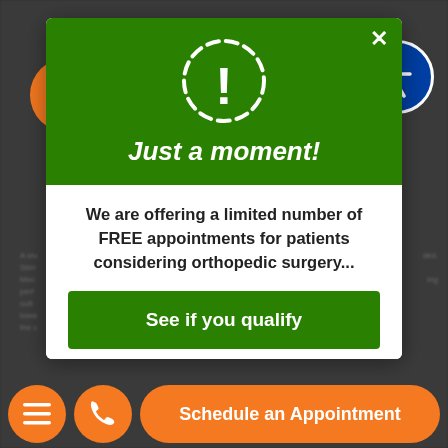[Figure (screenshot): Website screenshot showing a modal popup over a medical/orthopedic website. Orange chat and text-us buttons visible top-left. Blue accessibility button top-right. Green modal with exclamation icon, title 'Just a moment!', body text about free appointments, green CTA button 'See if you qualify'. Bottom bar with orange hamburger menu, phone, and 'Schedule an Appointment' buttons.]
Text Us
Just a moment!
We are offering a limited number of FREE appointments for patients considering orthopedic surgery...
See if you qualify
Schedule an Appointment